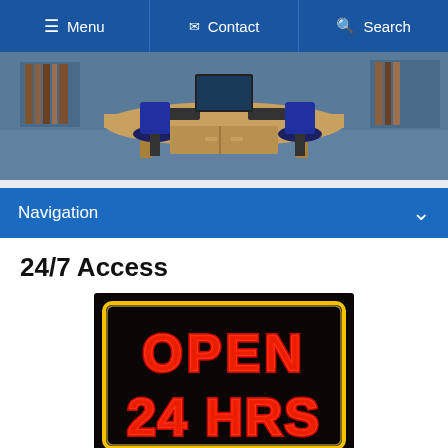Menu   Contact   Search
[Figure (photo): Library or study room with wooden desks, computer keyboards, and blue office chairs on a blue carpet]
Navigation
24/7 Access
[Figure (photo): Neon sign on black background reading OPEN 24 HRS in red neon letters with a yellow rectangular neon border]